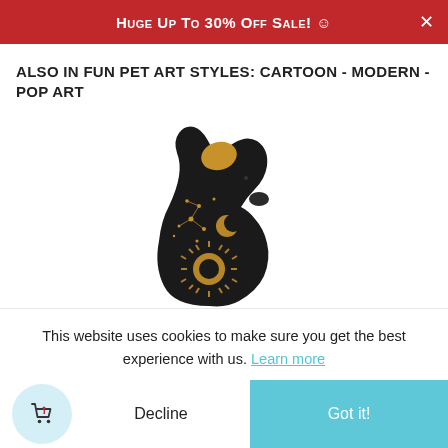Huge Up To 30% Off Sale! ☺
Also in Fun Pet Art Styles: Cartoon - Modern - Pop Art
[Figure (illustration): Black dog silhouette with gold celestial decorations including stars, moon, sun and constellation patterns]
This website uses cookies to make sure you get the best experience with us. Learn more
Decline
Got it!